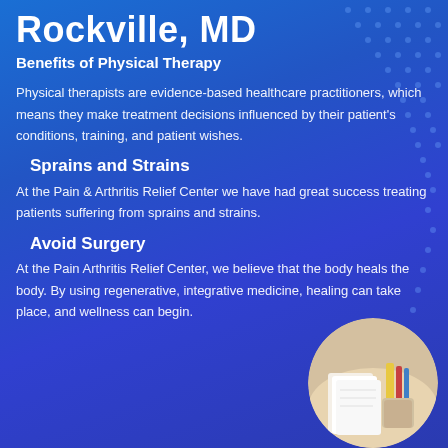Rockville, MD
Benefits of Physical Therapy
Physical therapists are evidence-based healthcare practitioners, which means they make treatment decisions influenced by their patient's conditions, training, and patient wishes.
Sprains and Strains
At the Pain & Arthritis Relief Center we have had great success treating patients suffering from sprains and strains.
Avoid Surgery
At the Pain Arthritis Relief Center, we believe that the body heals the body. By using regenerative, integrative medicine, healing can take place, and wellness can begin.
[Figure (photo): Circular photo at bottom right showing a desk scene with notebooks and stationery items on a light-colored surface]